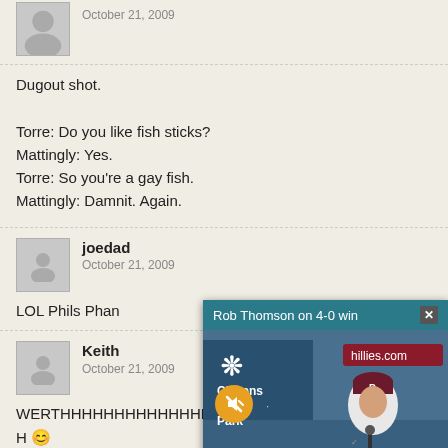October 21, 2009
Dugout shot.

Torre: Do you like fish sticks?
Mattingly: Yes.
Torre: So you're a gay fish.
Mattingly: Damnit. Again.
joedad
October 21, 2009
LOL Phils Phan
Keith
October 21, 2009
WERTHHHHHHHHHHHHHHH 😊
[Figure (screenshot): Video overlay popup: 'Rob Thomson on 4-0 win' showing a baseball manager at Citizens Bank Park with Phillies branding. Has a mute button and close button.]
Phils Phan